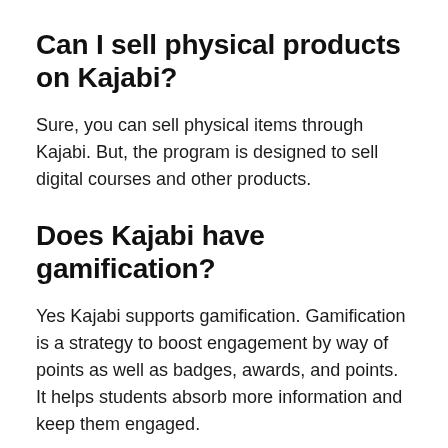Can I sell physical products on Kajabi?
Sure, you can sell physical items through Kajabi. But, the program is designed to sell digital courses and other products.
Does Kajabi have gamification?
Yes Kajabi supports gamification. Gamification is a strategy to boost engagement by way of points as well as badges, awards, and points. It helps students absorb more information and keep them engaged.